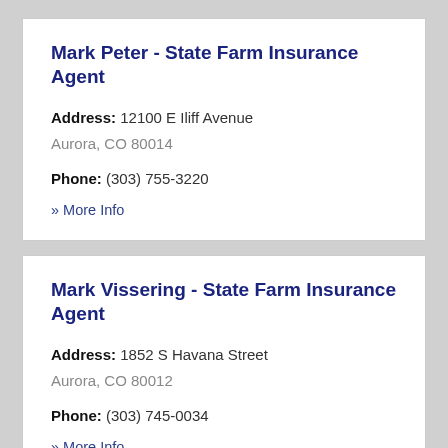Mark Peter - State Farm Insurance Agent
Address: 12100 E Iliff Avenue
Aurora, CO 80014
Phone: (303) 755-3220
» More Info
Mark Vissering - State Farm Insurance Agent
Address: 1852 S Havana Street
Aurora, CO 80012
Phone: (303) 745-0034
» More Info